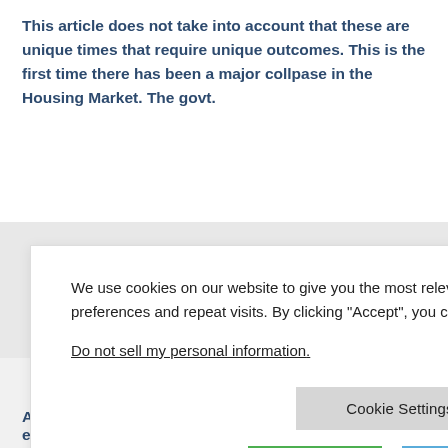This article does not take into account that these are unique times that require unique outcomes. This is the first time there has been a major collpase in the Housing Market. The govt. offers bailouts to various industries that are hurting financially, not because they need it but because no
We use cookies on our website to give you the most relevant experience by remembering your preferences and repeat visits. By clicking "Accept", you consent to the use of ALL the cookies.

Do not sell my personal information.

Cookie Settings

Accept   Reject All
MAY 15, 2010 AT 3:34 AM
Americans don't want to pay their debts – Even to each other